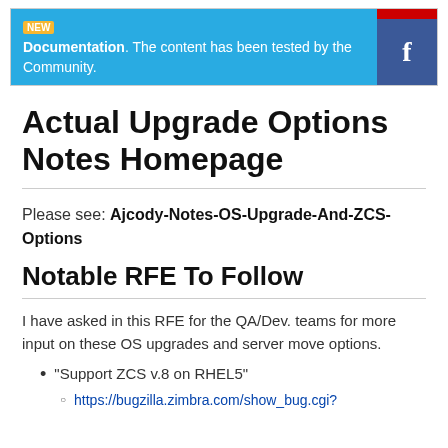[Figure (other): Banner with blue background containing bold text 'Documentation. The content has been tested by the Community.' with a yellow label tag, and a Facebook icon box on the right with a red bar at top.]
Actual Upgrade Options Notes Homepage
Please see: Ajcody-Notes-OS-Upgrade-And-ZCS-Options
Notable RFE To Follow
I have asked in this RFE for the QA/Dev. teams for more input on these OS upgrades and server move options.
"Support ZCS v.8 on RHEL5"
https://bugzilla.zimbra.com/show_bug.cgi?